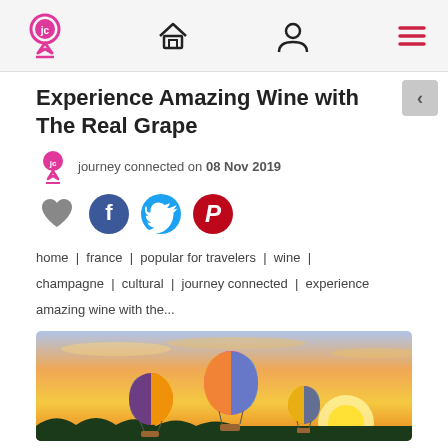Navigation bar with journey connected logo, home icon, user icon, menu icon
Experience Amazing Wine with The Real Grape
journey connected on 08 Nov 2019
[Figure (illustration): Social sharing icons: heart (like), Facebook, Twitter, Pinterest]
home | france | popular for travelers | wine | champagne | cultural | journey connected | experience amazing wine with the...
[Figure (photo): Hot air balloons floating over landscape at sunset with golden sky]